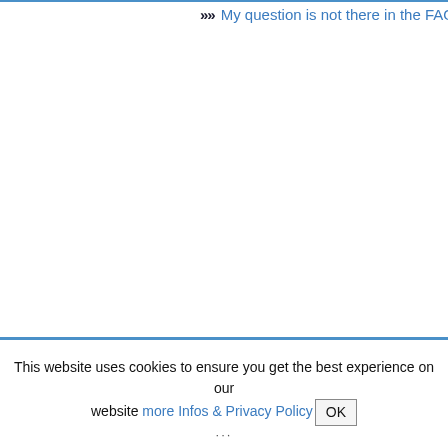»» My question is not there in the FAQ
This website uses cookies to ensure you get the best experience on our website more Infos & Privacy Policy OK
···